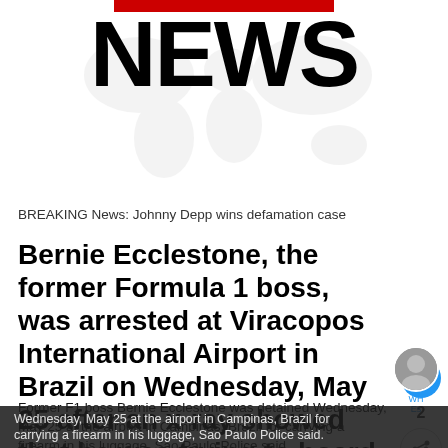[Figure (logo): NEWS logo with red bar above large bold black NEWS text, world map watermark in background]
BREAKING News: Johnny Depp wins defamation case
Bernie Ecclestone, the former Formula 1 boss, was arrested at Viracopos International Airport in Brazil on Wednesday, May 25 after an x-ray showed that he was trying to board a plane to Switzerland with a gun.
Former F1 boss Bernie Ecclestone was detained Wednesday, May 25 at the airport in Campinas, Brazil for carrying a firearm in his luggage, Sao Paulo Police said.